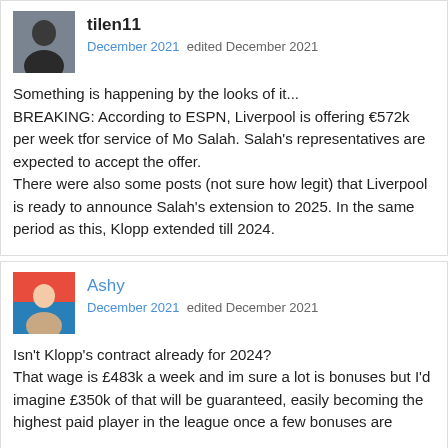[Figure (photo): Avatar image of user tilen11, appears to be a dark silhouette photo]
tilen11
December 2021 edited December 2021
Something is happening by the looks of it...
BREAKING: According to ESPN, Liverpool is offering €572k per week tfor service of Mo Salah. Salah's representatives are expected to accept the offer.
There were also some posts (not sure how legit) that Liverpool is ready to announce Salah's extension to 2025. In the same period as this, Klopp extended till 2024.
[Figure (photo): Avatar image of user Ashy, appears to be a colorful photo of a person]
Ashy
December 2021 edited December 2021
Isn't Klopp's contract already for 2024?
That wage is £483k a week and im sure a lot is bonuses but I'd imagine £350k of that will be guaranteed, easily becoming the highest paid player in the league once a few bonuses are